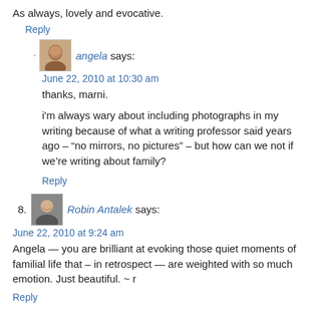As always, lovely and evocative.
Reply
angela says:
June 22, 2010 at 10:30 am
thanks, marni.
i'm always wary about including photographs in my writing because of what a writing professor said years ago – "no mirrors, no pictures" – but how can we not if we're writing about family?
Reply
8. Robin Antalek says:
June 22, 2010 at 9:24 am
Angela — you are brilliant at evoking those quiet moments of familial life that – in retrospect — are weighted with so much emotion. Just beautiful. ~ r
Reply